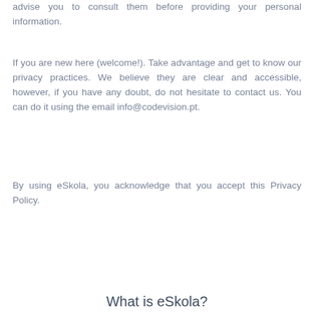advise you to consult them before providing your personal information.
If you are new here (welcome!). Take advantage and get to know our privacy practices. We believe they are clear and accessible, however, if you have any doubt, do not hesitate to contact us. You can do it using the email info@codevision.pt.
By using eSkola, you acknowledge that you accept this Privacy Policy.
What is eSkola?